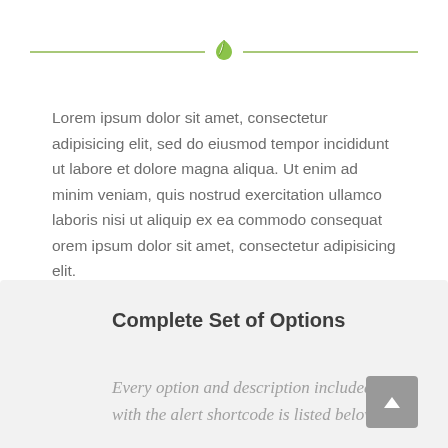[Figure (illustration): Horizontal green divider line with a green leaf icon centered on it]
Lorem ipsum dolor sit amet, consectetur adipisicing elit, sed do eiusmod tempor incididunt ut labore et dolore magna aliqua. Ut enim ad minim veniam, quis nostrud exercitation ullamco laboris nisi ut aliquip ex ea commodo consequat orem ipsum dolor sit amet, consectetur adipisicing elit.
Complete Set of Options
Every option and description included with the alert shortcode is listed below.